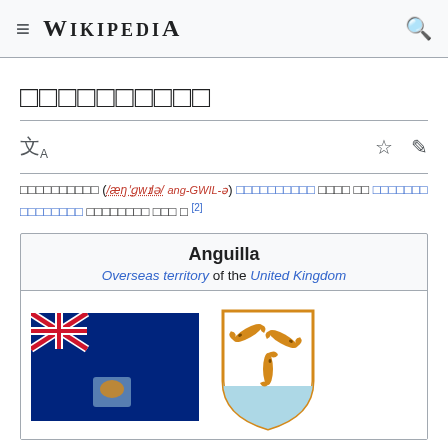≡ WIKIPEDIA 🔍
□□□□□□□□□□
[Figure (other): Language/translate icon, star bookmark icon, and pencil edit icon toolbar]
□□□□□□□□□□ (/æŋˈɡwɪlə/ ang-GWIL-ə) □□□□□□□□□□ □□□□ □□ □□□□□□□ □□□□□□□□ □□□□□□□□ □□□ □ [2]
| Anguilla |
| Overseas territory of the United Kingdom |
| [Flag image] [Coat of arms image] |